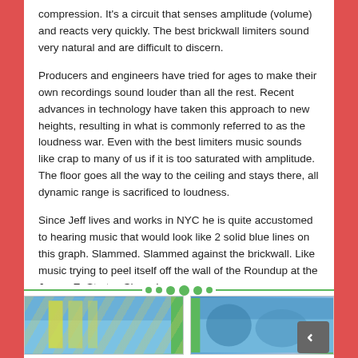compression. It's a circuit that senses amplitude (volume) and reacts very quickly. The best brickwall limiters sound very natural and are difficult to discern.
Producers and engineers have tried for ages to make their own recordings sound louder than all the rest. Recent advances in technology have taken this approach to new heights, resulting in what is commonly referred to as the loudness war. Even with the best limiters music sounds like crap to many of us if it is too saturated with amplitude. The floor goes all the way to the ceiling and stays there, all dynamic range is sacrificed to loudness.
Since Jeff lives and works in NYC he is quite accustomed to hearing music that would look like 2 solid blue lines on this graph. Slammed. Slammed against the brickwall. Like music trying to peel itself off the wall of the Roundup at the James E. Strates Shows!
[Figure (photo): Two images side by side at the bottom of the page, separated by a green divider line with dots. Images appear to show audio-related or carousel/roundup imagery with colorful backgrounds.]